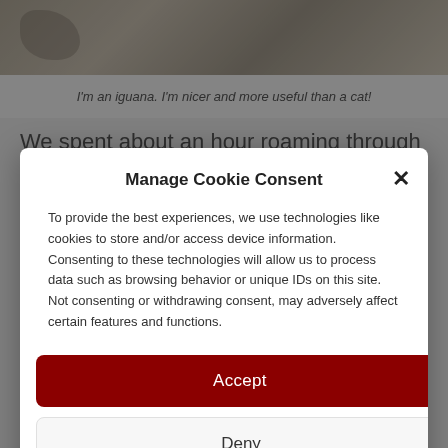[Figure (photo): Partial view of an iguana on rocks, cropped at top of page]
I'm an iguana. I'm nicer and more useful than a cat!
We spent about an hour roaming through the
Manage Cookie Consent
To provide the best experiences, we use technologies like cookies to store and/or access device information. Consenting to these technologies will allow us to process data such as browsing behavior or unique IDs on this site. Not consenting or withdrawing consent, may adversely affect certain features and functions.
Accept
Deny
View preferences